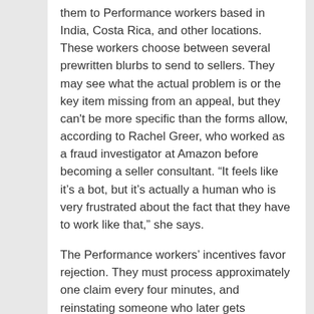them to Performance workers based in India, Costa Rica, and other locations. These workers choose between several prewritten blurbs to send to sellers. They may see what the actual problem is or the key item missing from an appeal, but they can't be more specific than the forms allow, according to Rachel Greer, who worked as a fraud investigator at Amazon before becoming a seller consultant. “It feels like it’s a bot, but it’s actually a human who is very frustrated about the fact that they have to work like that,” she says.
The Performance workers’ incentives favor rejection. They must process approximately one claim every four minutes, and reinstating someone who later gets suspended again counts against them.... When they fall